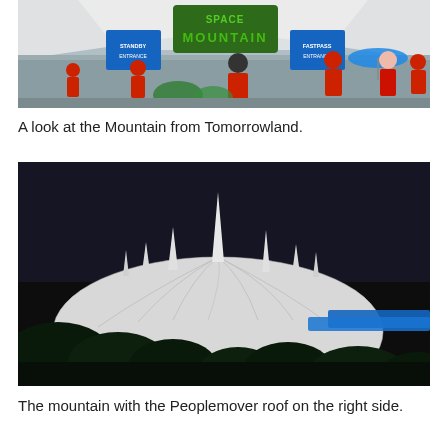[Figure (photo): Outdoor entrance area of Space Mountain at a Disney theme park. Crowds of visitors in red shirts visible. Green 'Space Mountain' sign visible at top center. Blue banners on either side. White tent-like structure overhead.]
A look at the Mountain from Tomorrowland.
[Figure (photo): Nighttime or dark-sky view of the white dome of Space Mountain, with its distinctive pointed spires on top. Dark trees silhouetted in the foreground. A blue Peoplemover track/roof visible on the right side.]
The mountain with the Peoplemover roof on the right side.